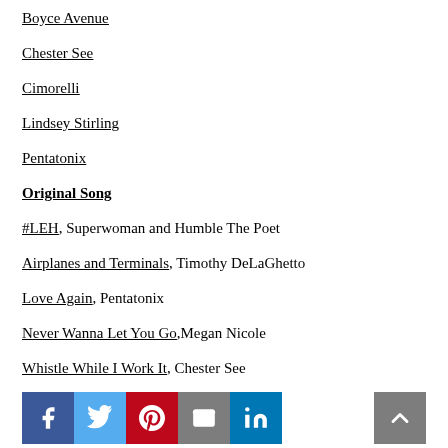Boyce Avenue
Chester See
Cimorelli
Lindsey Stirling
Pentatonix
Original Song
#LEH, Superwoman and Humble The Poet
Airplanes and Terminals, Timothy DeLaGhetto
Love Again, Pentatonix
Never Wanna Let You Go, Megan Nicole
Whistle While I Work It, Chester See